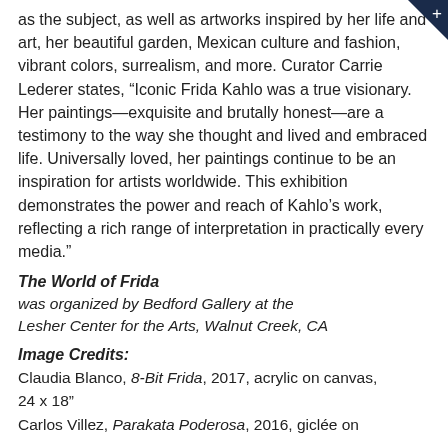as the subject, as well as artworks inspired by her life and art, her beautiful garden, Mexican culture and fashion, vibrant colors, surrealism, and more. Curator Carrie Lederer states, “Iconic Frida Kahlo was a true visionary. Her paintings—exquisite and brutally honest—are a testimony to the way she thought and lived and embraced life. Universally loved, her paintings continue to be an inspiration for artists worldwide. This exhibition demonstrates the power and reach of Kahlo’s work, reflecting a rich range of interpretation in practically every media.”
The World of Frida
was organized by Bedford Gallery at the Lesher Center for the Arts, Walnut Creek, CA
Image Credits:
Claudia Blanco, 8-Bit Frida, 2017, acrylic on canvas, 24 x 18”
Carlos Villez, Parakata Poderosa, 2016, giclée on